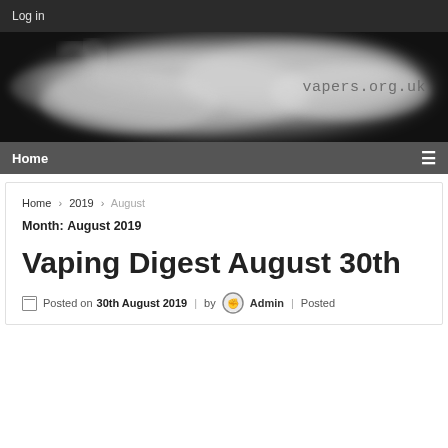Log in
[Figure (photo): Banner image with smoke/vapor cloud on black background with text 'vapers.org.uk']
Home
Home › 2019 › August
Month: August 2019
Vaping Digest August 30th
Posted on 30th August 2019 | by Admin | Posted